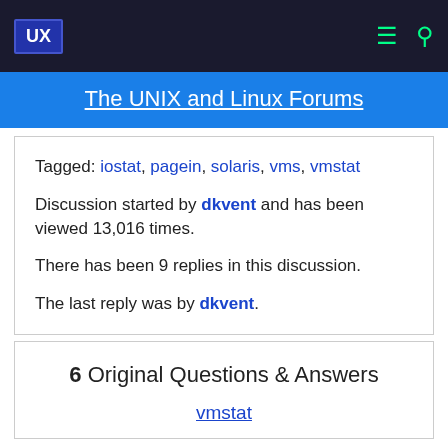UX | The UNIX and Linux Forums
Tagged: iostat, pagein, solaris, vms, vmstat
Discussion started by dkvent and has been viewed 13,016 times.
There has been 9 replies in this discussion.
The last reply was by dkvent.
6  Original Questions & Answers
vmstat